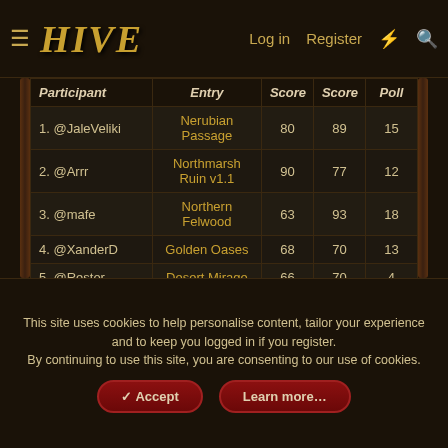HIVE — Log in | Register
| Participant | Entry | Score | Score | Poll |
| --- | --- | --- | --- | --- |
| 1. @JaleVeliki | Nerubian Passage | 80 | 89 | 15 |
| 2. @Arrr | Northmarsh Ruin v1.1 | 90 | 77 | 12 |
| 3. @mafe | Northern Felwood | 63 | 93 | 18 |
| 4. @XanderD | Golden Oases | 68 | 70 | 13 |
| 5. @Restor | Desert Mirage | 66 | 70 | 4 |
This site uses cookies to help personalise content, tailor your experience and to keep you logged in if you register. By continuing to use this site, you are consenting to our use of cookies.
Accept | Learn more...